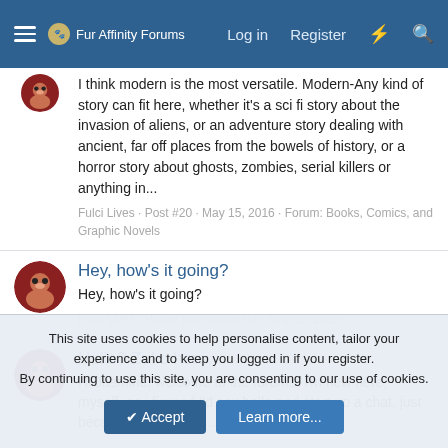Fur Affinity Forums · Log in · Register
I think modern is the most versatile. Modern-Any kind of story can fit here, whether it's a sci fi story about the invasion of aliens, or an adventure story dealing with ancient, far off places from the bowels of history, or a horror story about ghosts, zombies, serial killers or anything in...
Fulci Lives · Post #20 · May 15, 2016 · Forum: Books, Comics, and Graphic Novels
Hey, how's it going?
Hey, how's it going?
Fulci Lives · Profile post comment · May 15, 2016
Hello? Zuko here.
Hi Jasmine, welcome to the forums! I'm new here, myself, so i figured I'd say hello and start up a chat, just because. To start off...
This site uses cookies to help personalise content, tailor your experience and to keep you logged in if you register.
By continuing to use this site, you are consenting to our use of cookies.